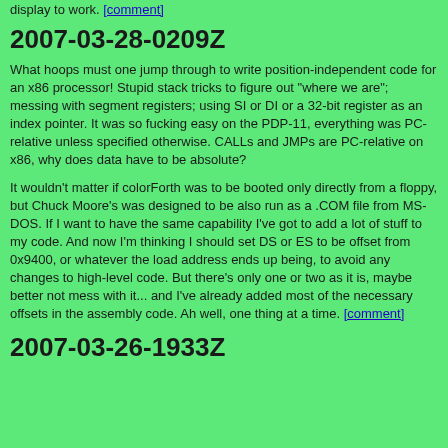display to work. [comment]
2007-03-28-0209Z
What hoops must one jump through to write position-independent code for an x86 processor! Stupid stack tricks to figure out "where we are"; messing with segment registers; using SI or DI or a 32-bit register as an index pointer. It was so fucking easy on the PDP-11, everything was PC-relative unless specified otherwise. CALLs and JMPs are PC-relative on x86, why does data have to be absolute?
It wouldn't matter if colorForth was to be booted only directly from a floppy, but Chuck Moore's was designed to be also run as a .COM file from MS-DOS. If I want to have the same capability I've got to add a lot of stuff to my code. And now I'm thinking I should set DS or ES to be offset from 0x9400, or whatever the load address ends up being, to avoid any changes to high-level code. But there's only one or two as it is, maybe better not mess with it... and I've already added most of the necessary offsets in the assembly code. Ah well, one thing at a time. [comment]
2007-03-26-1933Z